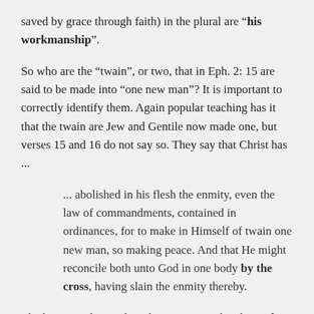saved by grace through faith) in the plural are “his workmanship”.
So who are the “twain”, or two, that in Eph. 2: 15 are said to be made into “one new man”? It is important to correctly identify them. Again popular teaching has it that the twain are Jew and Gentile now made one, but verses 15 and 16 do not say so. They say that Christ has ...
... abolished in his flesh the enmity, even the law of commandments, contained in ordinances, for to make in Himself of twain one new man, so making peace. And that He might reconcile both unto God in one body by the cross, having slain the enmity thereby.
The key to understanding this passage is the phrase, by the cross. It was there that the “twain” were made one. So does